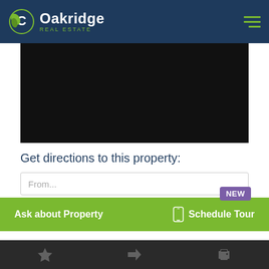[Figure (logo): Oakridge Real Estate logo with green leaf/circle icon and white/green text on dark navy header]
[Figure (map): Dark map area showing property location]
Get directions to this property:
From...
NEW
Ask about Property
Schedule Tour